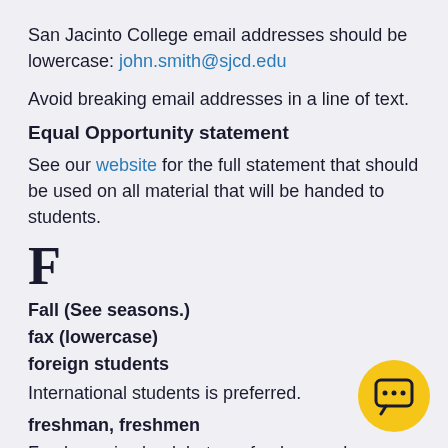San Jacinto College email addresses should be lowercase: john.smith@sjcd.edu
Avoid breaking email addresses in a line of text.
Equal Opportunity statement
See our website for the full statement that should be used on all material that will be handed to students.
F
Fall (See seasons.)
fax (lowercase)
foreign students
International students is preferred.
freshman, freshmen
Freshmen is plural, but use freshman when referring